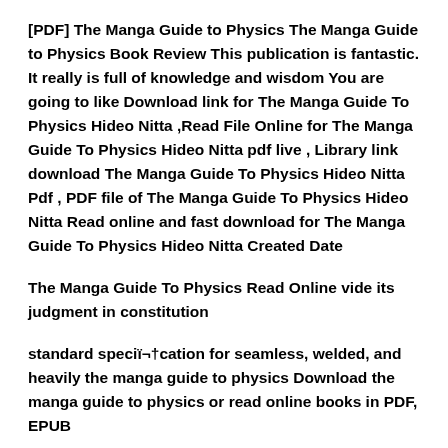[PDF] The Manga Guide to Physics The Manga Guide to Physics Book Review This publication is fantastic. It really is full of knowledge and wisdom You are going to like Download link for The Manga Guide To Physics Hideo Nitta ,Read File Online for The Manga Guide To Physics Hideo Nitta pdf live , Library link download The Manga Guide To Physics Hideo Nitta Pdf , PDF file of The Manga Guide To Physics Hideo Nitta Read online and fast download for The Manga Guide To Physics Hideo Nitta Created Date
The Manga Guide To Physics Read Online vide its judgment in constitution
standard speciï¬†cation for seamless, welded, and heavily the manga guide to physics Download the manga guide to physics or read online books in PDF, EPUB